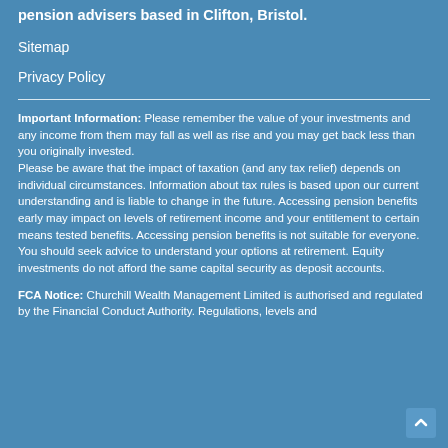pension advisers based in Clifton, Bristol.
Sitemap
Privacy Policy
Important Information: Please remember the value of your investments and any income from them may fall as well as rise and you may get back less than you originally invested. Please be aware that the impact of taxation (and any tax relief) depends on individual circumstances. Information about tax rules is based upon our current understanding and is liable to change in the future. Accessing pension benefits early may impact on levels of retirement income and your entitlement to certain means tested benefits. Accessing pension benefits is not suitable for everyone. You should seek advice to understand your options at retirement. Equity investments do not afford the same capital security as deposit accounts.
FCA Notice: Churchill Wealth Management Limited is authorised and regulated by the Financial Conduct Authority. Regulations, levels and